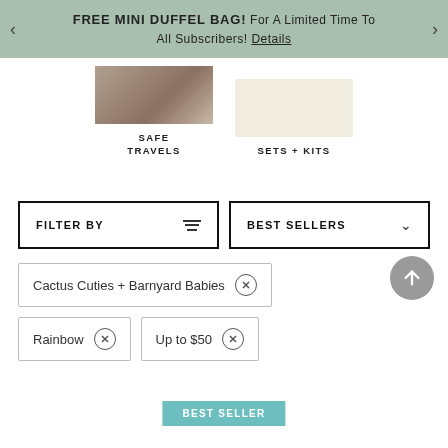FREE MINI DUFFEL BAG! For A Limited Time To All Subscribers! Details
[Figure (photo): Two cropped product/lifestyle images — left shows a person holding items (dark tones), right shows a cream-colored product on light background]
SAFE TRAVELS
SETS + KITS
FILTER BY
BEST SELLERS
Cactus Cuties + Barnyard Babies ⊗
Rainbow ⊗
Up to $50 ⊗
BEST SELLER